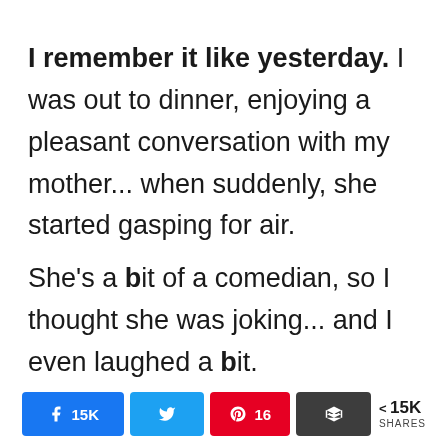I remember it like yesterday. I was out to dinner, enjoying a pleasant conversation with my mother... when suddenly, she started gasping for air.
She's a bit of a comedian, so I thought she was joking... and I even laughed a bit.
[Figure (other): Social share bar with Facebook (15K), Twitter, Pinterest (16), More buttons, and < 15K SHARES count]